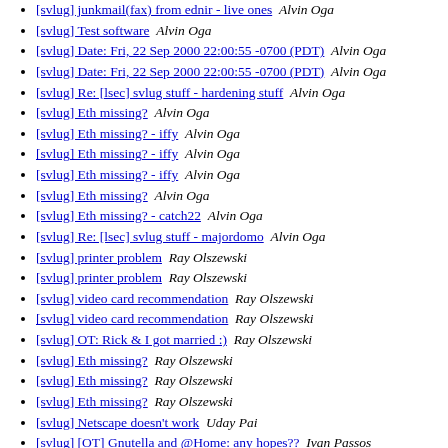[svlug] junkmail(fax) from ednir - live ones  Alvin Oga
[svlug] Test software  Alvin Oga
[svlug] Date: Fri, 22 Sep 2000 22:00:55 -0700 (PDT)  Alvin Oga
[svlug] Date: Fri, 22 Sep 2000 22:00:55 -0700 (PDT)  Alvin Oga
[svlug] Re: [lsec] svlug stuff - hardening stuff  Alvin Oga
[svlug] Eth missing?  Alvin Oga
[svlug] Eth missing? - iffy  Alvin Oga
[svlug] Eth missing? - iffy  Alvin Oga
[svlug] Eth missing? - iffy  Alvin Oga
[svlug] Eth missing?  Alvin Oga
[svlug] Eth missing? - catch22  Alvin Oga
[svlug] Re: [lsec] svlug stuff - majordomo  Alvin Oga
[svlug] printer problem  Ray Olszewski
[svlug] printer problem  Ray Olszewski
[svlug] video card recommendation  Ray Olszewski
[svlug] video card recommendation  Ray Olszewski
[svlug] OT: Rick & I got married :)  Ray Olszewski
[svlug] Eth missing?  Ray Olszewski
[svlug] Eth missing?  Ray Olszewski
[svlug] Eth missing?  Ray Olszewski
[svlug] Netscape doesn't work  Uday Pai
[svlug] [OT] Gnutella and @Home: any hopes??  Ivan Passos
[svlug] SuSE scripts  Ivan Passos